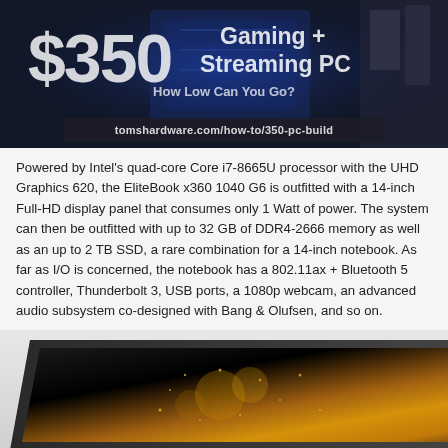[Figure (photo): Dark blue-toned promotional image showing a $350 Gaming + Streaming PC build with text overlay and URL banner reading 'tomshardware.com/how-to/350-pc-build']
Powered by Intel's quad-core Core i7-8665U processor with the UHD Graphics 620, the EliteBook x360 1040 G6 is outfitted with a 14-inch Full-HD display panel that consumes only 1 Watt of power. The system can then be outfitted with up to 32 GB of DDR4-2666 memory as well as an up to 2 TB SSD, a rare combination for a 14-inch notebook. As far as I/O is concerned, the notebook has a 802.11ax + Bluetooth 5 controller, Thunderbolt 3, USB ports, a 1080p webcam, an advanced audio subsystem co-designed with Bang & Olufsen, and so on.
[Figure (photo): Photo of a laptop (HP EliteBook x360) showing the screen with gold/dark imagery, viewed from a low angle]